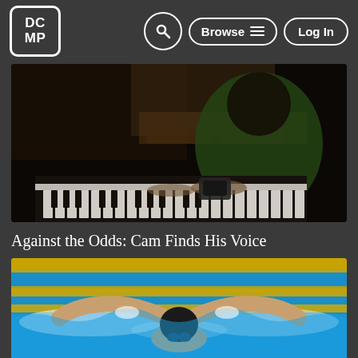DCMP — Browse — Log In (navigation header)
[Figure (photo): A child in a green hoodie playing piano in a dimly lit room with a wooden dresser in the background.]
Against the Odds: Cam Finds His Voice
[Figure (photo): A swimmer wearing a black cap and goggles performing the butterfly stroke in a pool with yellow lane dividers.]